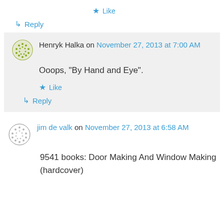★ Like
↳ Reply
Henryk Halka on November 27, 2013 at 7:00 AM
Ooops, “By Hand and Eye”.
★ Like
↳ Reply
jim de valk on November 27, 2013 at 6:58 AM
9541 books: Door Making And Window Making (hardcover)